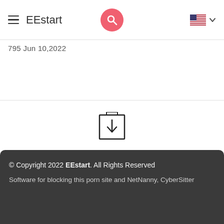EEstart
795 Jun 10,2022
[Figure (other): Download icon: a box with a downward arrow inside]
© Copyright 2022 EEstart. All Rights Reserved
Software for blocking this porn site and NetNanny, CyberSitter